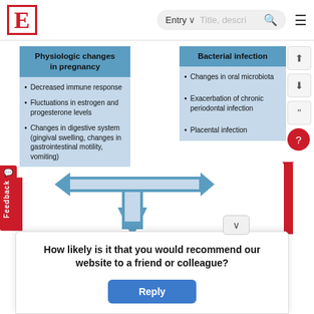E | Entry ▾ | Title, descri… 🔍 ≡
[Figure (flowchart): Medical diagram showing two columns: 'Physiologic changes in pregnancy' (left, blue) with bullet points: Decreased immune response; Fluctuations in estrogen and progesterone levels; Changes in digestive system (gingival swelling, changes in gastrointestinal motility, vomiting). 'Bacterial infection' (right, blue) with bullet points: Changes in oral microbiota; Exacerbation of chronic periodontal infection; Placental infection. Double-headed arrow connecting the two columns horizontally, and a downward arrow pointing to a 'Host immune' box at the bottom.]
How likely is it that you would recommend our website to a friend or colleague?
Reply